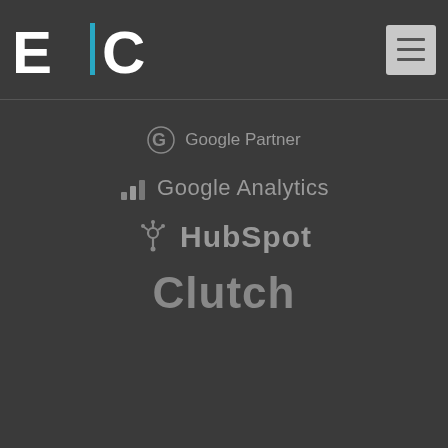[Figure (logo): E|C logo with teal vertical bar, top left navigation]
[Figure (logo): Hamburger menu icon, top right]
[Figure (logo): Google Partner logo with G icon and text]
[Figure (logo): Google Analytics logo with bar chart icon and text]
[Figure (logo): HubSpot logo with sprocket icon]
[Figure (logo): Clutch logo text]
[Figure (logo): Accessibility icon - person in circle, blue background]
[Figure (logo): E|C logo centered in cookie banner]
This website uses cookies to improve your experience, and to provide more personalized services to you, both on this website and other media. To find out more see our Privacy Policy.
ACCEPT
DECLINE